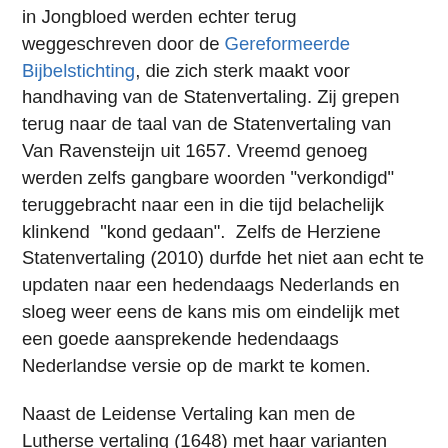in Jongbloed werden echter terug weggeschreven door de Gereformeerde Bijbelstichting, die zich sterk maakt voor handhaving van de Statenvertaling. Zij grepen terug naar de taal van de Statenvertaling van Van Ravensteijn uit 1657. Vreemd genoeg werden zelfs gangbare woorden "verkondigd" teruggebracht naar een in die tijd belachelijk klinkend  "kond gedaan".  Zelfs de Herziene Statenvertaling (2010) durfde het niet aan echt te updaten naar een hedendaags Nederlands en sloeg weer eens de kans mis om eindelijk met een goede aansprekende hedendaags Nederlandse versie op de markt te komen.
Naast de Leidense Vertaling kan men de Lutherse vertaling (1648) met haar varianten vinden.
Uit de beweging van Vergadering van Gelovigen of Brüderbewegung, Plymouth Brethren of eenvoudigweg